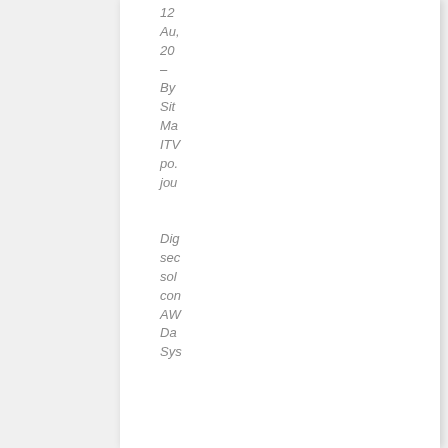12
Au,
20
–
By
Sit
Ma
ITV
po.
jou

Dig
sec
sol
con
AW
Da
Sys